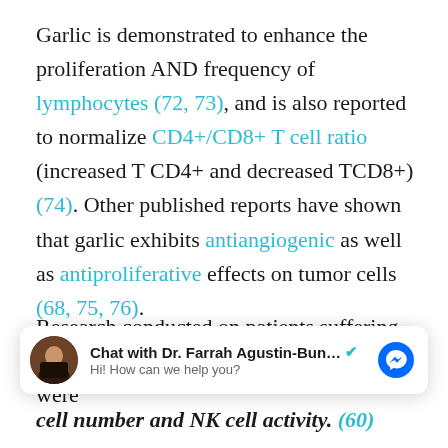Garlic is demonstrated to enhance the proliferation AND frequency of lymphocytes (72, 73), and is also reported to normalize CD4+/CD8+ T cell ratio (increased T CD4+ and decreased TCD8+) (74). Other published reports have shown that garlic exhibits antiangiogenic as well as antiproliferative effects on tumor cells (68, 75, 76).
Research conducted on patients suffering from liver, pancreatic, or colon cancer, who were
[Figure (screenshot): Chat widget showing 'Chat with Dr. Farrah Agustin-Bun...' with verified checkmark, avatar of a person, 'Hi! How can we help you?' subtext, and a Messenger icon button.]
cell number and NK cell activity. (60)